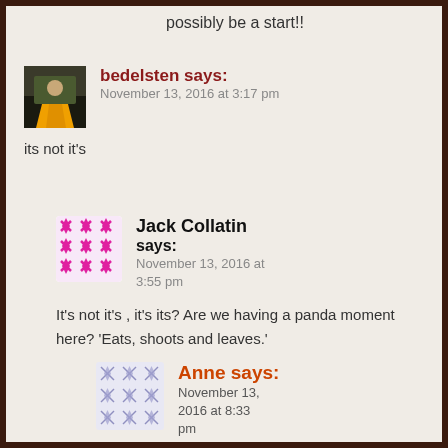possibly be a start!!
bedelsten says:
November 13, 2016 at 3:17 pm

its not it's
Jack Collatin says:
November 13, 2016 at 3:55 pm

It's not it's , it's its? Are we having a panda moment here? 'Eats, shoots and leaves.'
Anne says:
November 13, 2016 at 8:33 pm